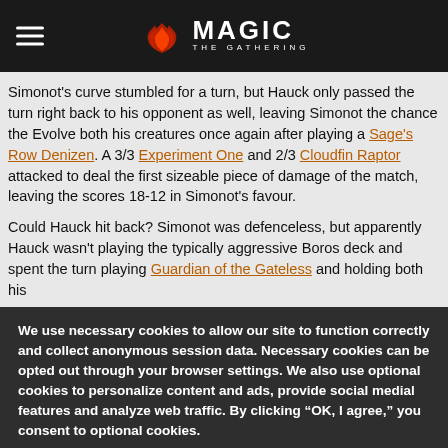MAGIC THE GATHERING
Simonot's curve stumbled for a turn, but Hauck only passed the turn right back to his opponent as well, leaving Simonot the chance the Evolve both his creatures once again after playing a Sage's Row Denizen. A 3/3 Experiment One and 2/3 Cloudfin Raptor attacked to deal the first sizeable piece of damage of the match, leaving the scores 18-12 in Simonot's favour.
Could Hauck hit back? Simonot was defenceless, but apparently Hauck wasn't playing the typically aggressive Boros deck and spent the turn playing Guardian of the Gateless and holding both his
We use necessary cookies to allow our site to function correctly and collect anonymous session data. Necessary cookies can be opted out through your browser settings. We also use optional cookies to personalize content and ads, provide social medial features and analyze web traffic. By clicking “OK, I agree,” you consent to optional cookies. (Learn more about cookies.)